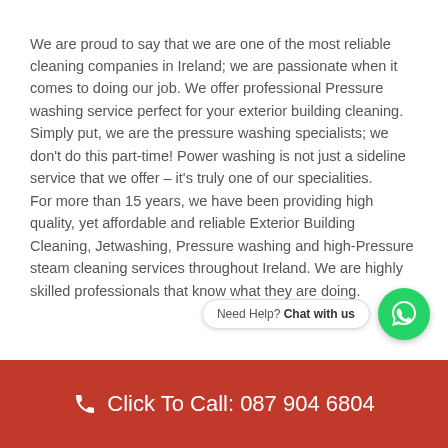We are proud to say that we are one of the most reliable cleaning companies in Ireland; we are passionate when it comes to doing our job. We offer professional Pressure washing service perfect for your exterior building cleaning. Simply put, we are the pressure washing specialists; we don't do this part-time! Power washing is not just a sideline service that we offer – it's truly one of our specialities. For more than 15 years, we have been providing high quality, yet affordable and reliable Exterior Building Cleaning, Jetwashing, Pressure washing and high-Pressure steam cleaning services throughout Ireland. We are highly skilled professionals that know what they are doing.
[Figure (other): WhatsApp chat widget with green circular icon and 'Need Help? Chat with us' text bubble]
Click To Call: 087 904 6804